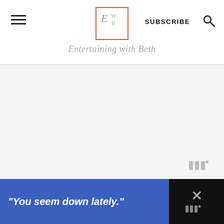Entertaining with Beth
[Figure (screenshot): Large white/light grey blank content area below the site header]
[Figure (logo): Wordmark logo in bottom-right of content area]
“You seem down lately.”
[Figure (logo): Small Wordmark logo in ad close area]